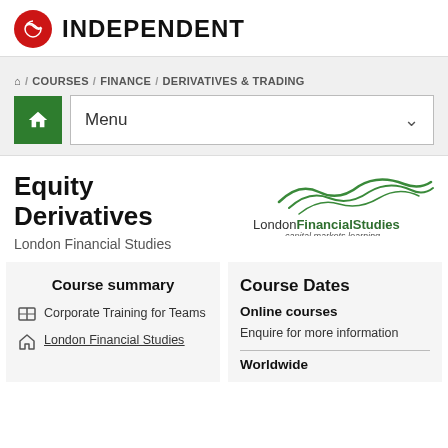INDEPENDENT
🏠 / COURSES / FINANCE / DERIVATIVES & TRADING
Menu
Equity Derivatives
London Financial Studies
[Figure (logo): London Financial Studies logo with wavy lines and text 'LondonFinancialStudies capital markets learning']
Course summary
Corporate Training for Teams
London Financial Studies
Course Dates
Online courses
Enquire for more information
Worldwide